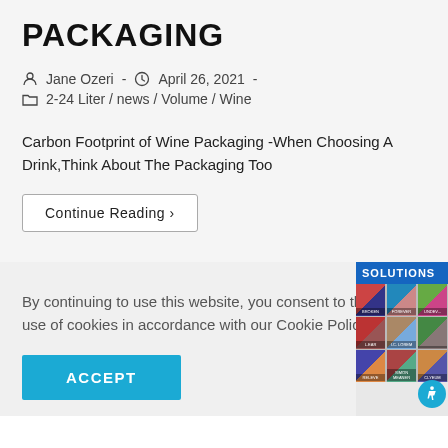PACKAGING
Jane Ozeri  -  April 26, 2021  -  2-24 Liter / news / Volume / Wine
Carbon Footprint of Wine Packaging -When Choosing A Drink,Think About The Packaging Too
Continue Reading ›
By continuing to use this website, you consent to the use of cookies in accordance with our Cookie Policy.
ACCEPT
[Figure (other): Sidebar showing SOLUTIONS banner and a 3x3 grid of colorful book/album cover thumbnails with an accessibility icon overlay]